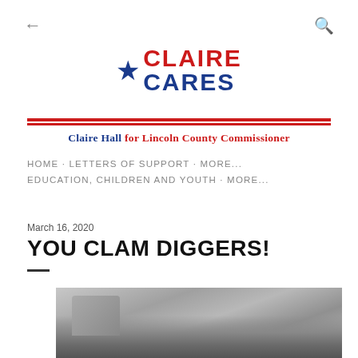[Figure (logo): Claire Cares logo with blue star and red/blue text]
Claire Hall for Lincoln County Commissioner
HOME · LETTERS OF SUPPORT · MORE...
EDUCATION, CHILDREN AND YOUTH · MORE...
March 16, 2020
YOU CLAM DIGGERS!
[Figure (photo): Old black and white photograph, partially visible, showing a building or structure with trees or landscape in background]